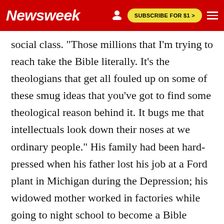Newsweek | SUBSCRIBE FOR $1 >
social class. "Those millions that I'm trying to reach take the Bible literally. It's the theologians that get all fouled up on some of these smug ideas that you've got to find some theological reason behind it. It bugs me that intellectuals look down their noses at we ordinary people." His family had been hard-pressed when his father lost his job at a Ford plant in Michigan during the Depression; his widowed mother worked in factories while going to night school to become a Bible teacher, and gave a tenth of her income to the